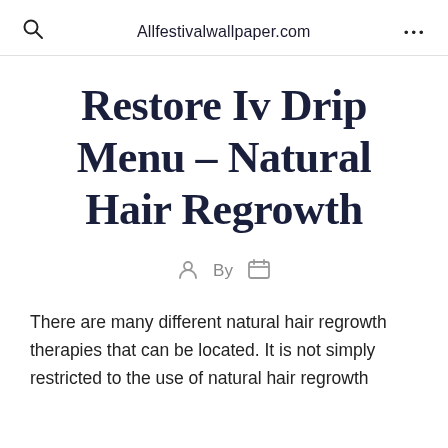Allfestivalwallpaper.com
Restore Iv Drip Menu – Natural Hair Regrowth
By
There are many different natural hair regrowth therapies that can be located. It is not simply restricted to the use of natural hair regrowth